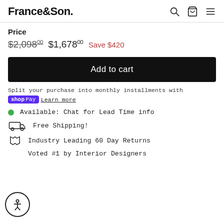France&Son.
Price
$2,098.00  $1,678.00  Save $420
Add to cart
Split your purchase into monthly installments with Shop Pay  Learn more
Available: Chat for Lead Time info
Free Shipping!
Industry Leading 60 Day Returns
Voted #1 by Interior Designers